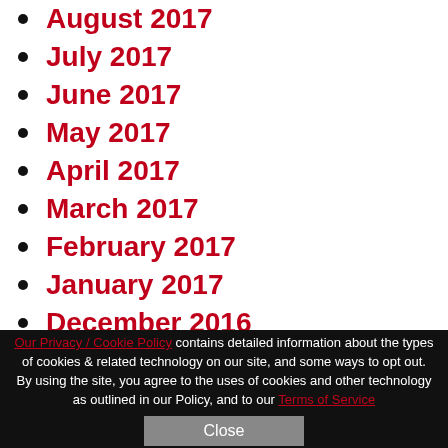August 2017
July 2017
June 2017
May 2017
April 2017
March 2017
February 2017
January 2017
December 2016
Our Privacy / Cookie Policy contains detailed information about the types of cookies & related technology on our site, and some ways to opt out. By using the site, you agree to the uses of cookies and other technology as outlined in our Policy, and to our Terms of Service